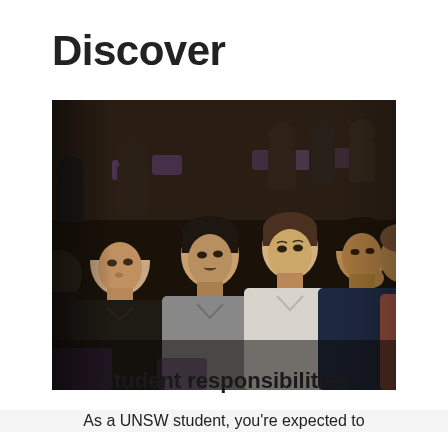Discover
[Figure (photo): A lecture hall filled with students sitting in rows, attentively listening. Several young men in the foreground wearing casual t-shirts, photographed in a dark, cinematic style.]
Student responsibilities
As a UNSW student, you're expected to